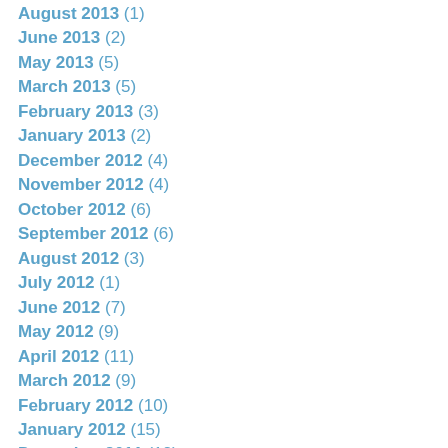August 2013 (1)
June 2013 (2)
May 2013 (5)
March 2013 (5)
February 2013 (3)
January 2013 (2)
December 2012 (4)
November 2012 (4)
October 2012 (6)
September 2012 (6)
August 2012 (3)
July 2012 (1)
June 2012 (7)
May 2012 (9)
April 2012 (11)
March 2012 (9)
February 2012 (10)
January 2012 (15)
December 2011 (12)
November 2011 (7)